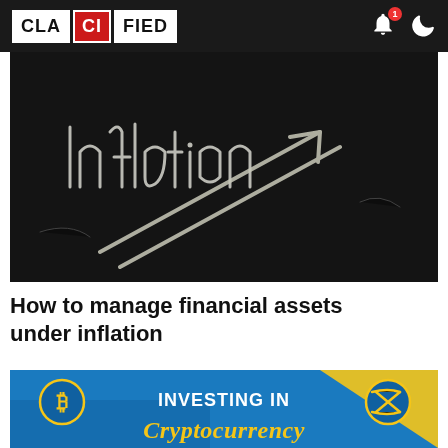CLACIFIED
[Figure (photo): Chalkboard with 'Inflation' written in chalk with an upward arrow drawn underneath]
How to manage financial assets under inflation
[Figure (infographic): Cryptocurrency investing graphic with blue background, Bitcoin and Ripple coin icons, text reading 'INVESTING IN Cryptocurrency' in bold yellow and gold script]